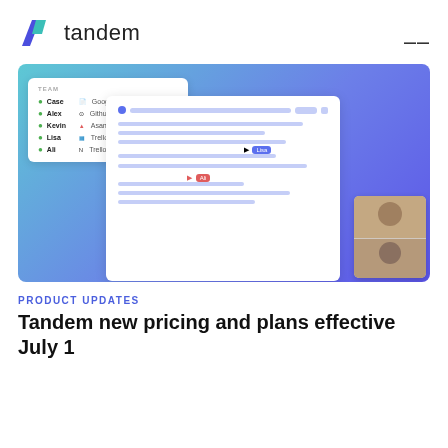tandem
[Figure (screenshot): Tandem app screenshot showing a team panel with names (Case, Alex, Kevin, Lisa, Ali) linked to apps (Google Docs, Github, Asana, Trello, Notion), overlaid with a document editor showing two cursors labeled 'Lisa' and 'Ali', and a video call panel in the bottom right corner. Background is a blue-to-purple gradient.]
PRODUCT UPDATES
Tandem new pricing and plans effective July 1